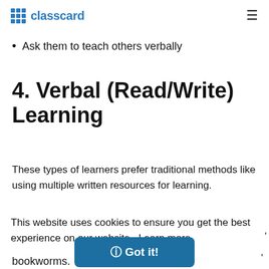classcard
Encourage class presentations, group discussions, debates
Ask them to teach others verbally
4. Verbal (Read/Write) Learning
These types of learners prefer traditional methods like using multiple written resources for learning.
This website uses cookies to ensure you get the best experience on our website. Learn more
bookworms.